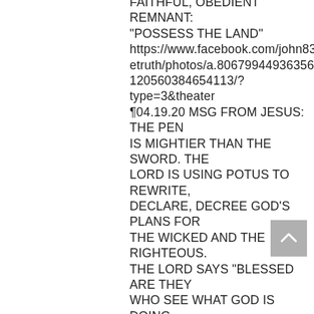FAITHFUL, OBEDIENT REMNANT: "POSSESS THE LAND" https://www.facebook.com/john832thetruth/photos/a.806799449363563/3120560384654113/?type=3&theater ¶04.19.20 MSG FROM JESUS: THE PEN IS MIGHTIER THAN THE SWORD. THE LORD IS USING POTUS TO REWRITE, DECLARE, DECREE GOD’S PLANS FOR THE WICKED AND THE RIGHTEOUS. THE LORD SAYS "BLESSED ARE THEY WHO SEE WHAT GOD IS DOING THROUGH POTUS AND THOSE OPPOSING GOD’S WILL VIA TRUMP WILL RECEIVE THEIR REWARD TOO." MT13:14-17 https://www.facebook.com/john832thetruth/photos/a.806799449363563/3110858588957626/?type=3&theater